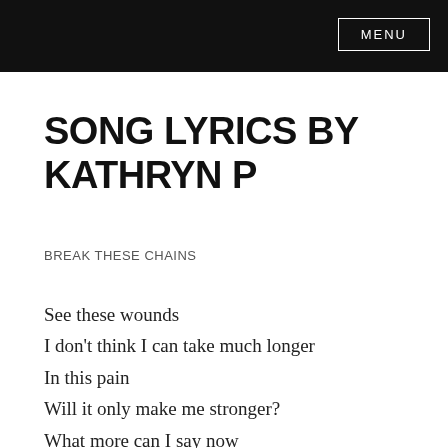MENU
SONG LYRICS BY KATHRYN P
BREAK THESE CHAINS
See these wounds
I don't think I can take much longer
In this pain
Will it only make me stronger?
What more can I say now
Take me away somewhere else